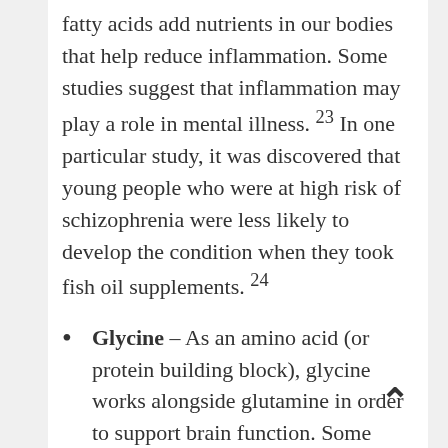fatty acids add nutrients in our bodies that help reduce inflammation. Some studies suggest that inflammation may play a role in mental illness. 23 In one particular study, it was discovered that young people who were at high risk of schizophrenia were less likely to develop the condition when they took fish oil supplements. 24
Glycine – As an amino acid (or protein building block), glycine works alongside glutamine in order to support brain function. Some studies suggest that when glycine is taken in